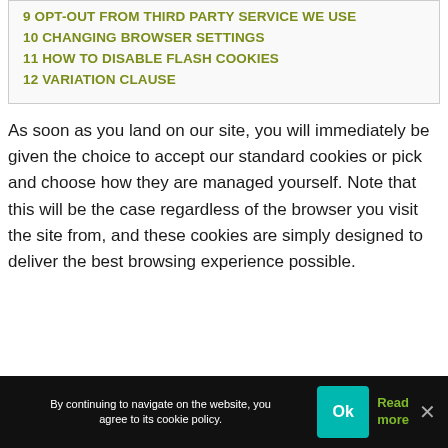9 OPT-OUT FROM THIRD PARTY SERVICE WE USE
10 CHANGING BROWSER SETTINGS
11 HOW TO DISABLE FLASH COOKIES
12 VARIATION CLAUSE
As soon as you land on our site, you will immediately be given the choice to accept our standard cookies or pick and choose how they are managed yourself. Note that this will be the case regardless of the browser you visit the site from, and these cookies are simply designed to deliver the best browsing experience possible.
By continuing to navigate on the website, you agree to its cookie policy.